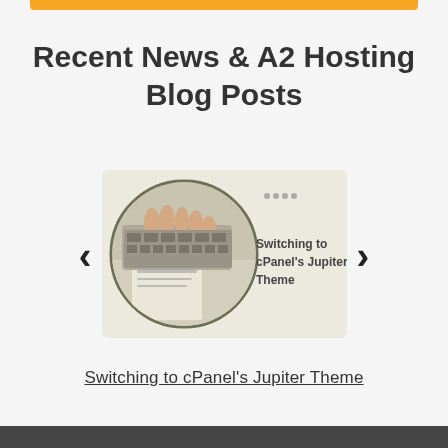[Figure (other): Orange decorative bar at top of page]
Recent News & A2 Hosting Blog Posts
[Figure (screenshot): Blog post thumbnail image showing a person typing on a laptop keyboard with text overlay reading 'Switching to cPanel's Jupiter Theme']
Switching to cPanel's Jupiter Theme